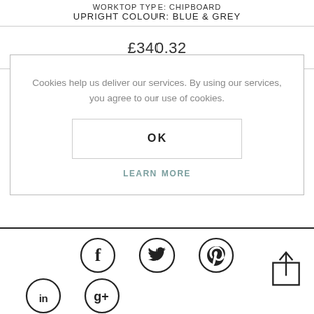WORKTOP TYPE: CHIPBOARD UPRIGHT COLOUR: BLUE & GREY
£340.32
Cookies help us deliver our services. By using our services, you agree to our use of cookies.
OK
LEARN MORE
[Figure (infographic): Social media icons: Facebook, Twitter, Pinterest, LinkedIn, Google+, and a share/upload icon]